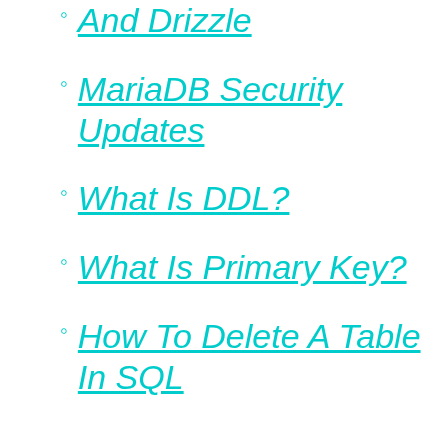And Drizzle
MariaDB Security Updates
What Is DDL?
What Is Primary Key?
How To Delete A Table In SQL